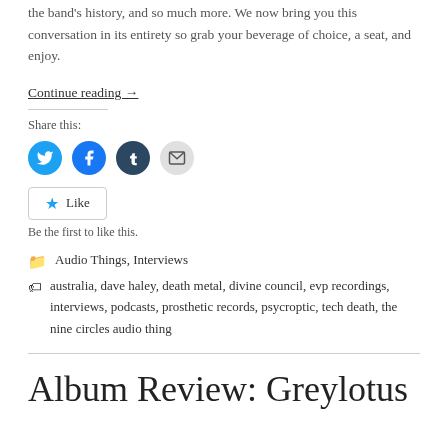the band's history, and so much more. We now bring you this conversation in its entirety so grab your beverage of choice, a seat, and enjoy.
Continue reading →
Share this:
[Figure (infographic): Social share icons: Twitter (blue circle), Facebook (blue circle), Tumblr (dark navy circle), Email (light grey circle)]
Like
Be the first to like this.
Audio Things, Interviews
australia, dave haley, death metal, divine council, evp recordings, interviews, podcasts, prosthetic records, psycroptic, tech death, the nine circles audio thing
Album Review: Greylotus